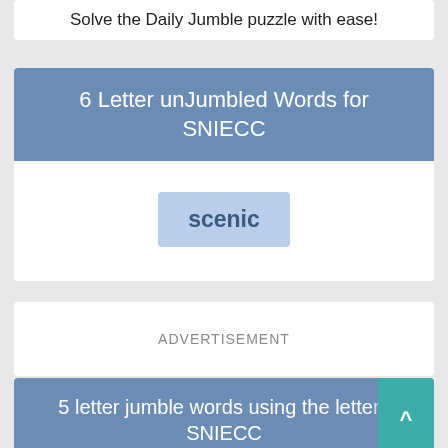Solve the Daily Jumble puzzle with ease!
6 Letter unJumbled Words for SNIECC
scenic
ADVERTISEMENT
5 letter jumble words using the letters SNIECC
cines
since